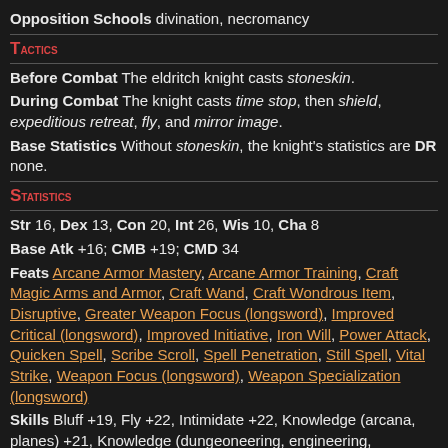Opposition Schools divination, necromancy
Tactics
Before Combat The eldritch knight casts stoneskin.
During Combat The knight casts time stop, then shield, expeditious retreat, fly, and mirror image.
Base Statistics Without stoneskin, the knight's statistics are DR none.
Statistics
Str 16, Dex 13, Con 20, Int 26, Wis 10, Cha 8
Base Atk +16; CMB +19; CMD 34
Feats Arcane Armor Mastery, Arcane Armor Training, Craft Magic Arms and Armor, Craft Wand, Craft Wondrous Item, Disruptive, Greater Weapon Focus (longsword), Improved Critical (longsword), Improved Initiative, Iron Will, Power Attack, Quicken Spell, Scribe Scroll, Spell Penetration, Still Spell, Vital Strike, Weapon Focus (longsword), Weapon Specialization (longsword)
Skills Bluff +19, Fly +22, Intimidate +22, Knowledge (arcana, planes) +21, Knowledge (dungeoneering, engineering,